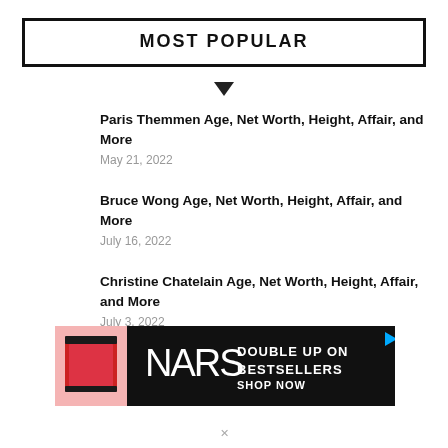MOST POPULAR
Paris Themmen Age, Net Worth, Height, Affair, and More
May 21, 2022
Bruce Wong Age, Net Worth, Height, Affair, and More
July 16, 2022
Christine Chatelain Age, Net Worth, Height, Affair, and More
July 3, 2022
[Figure (infographic): NARS advertisement banner: black background with pink cosmetic product on left, NARS logo and text 'DOUBLE UP ON BESTSELLERS SHOP NOW' on right]